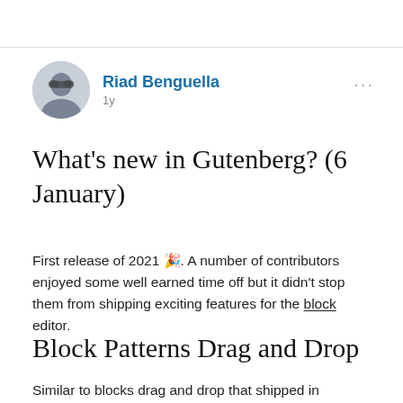[Figure (photo): Circular avatar photo of Riad Benguella, a man with sunglasses and beard]
Riad Benguella
1y
What's new in Gutenberg? (6 January)
First release of 2021 🎉. A number of contributors enjoyed some well earned time off but it didn't stop them from shipping exciting features for the block editor.
Block Patterns Drag and Drop
Similar to blocks drag and drop that shipped in